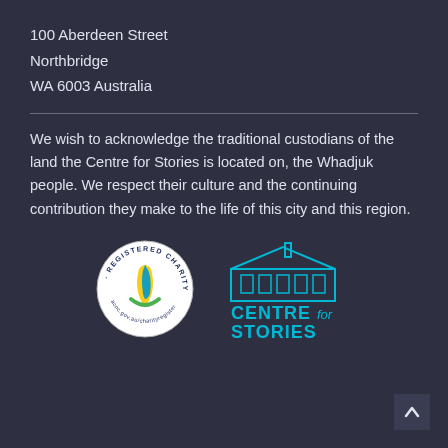100 Aberdeen Street
Northbridge
WA 6003 Australia
We wish to acknowledge the traditional custodians of the land the Centre for Stories is located on, the Whadjuk people. We respect their culture and the continuing contribution they make to the life of this city and this region.
[Figure (logo): Registered Charity badge (ACNC) circular logo with yellow and blue ribbon graphic, and Centre for Stories building outline logo in teal]
[Figure (other): Scroll-to-top arrow button in bottom-right corner]